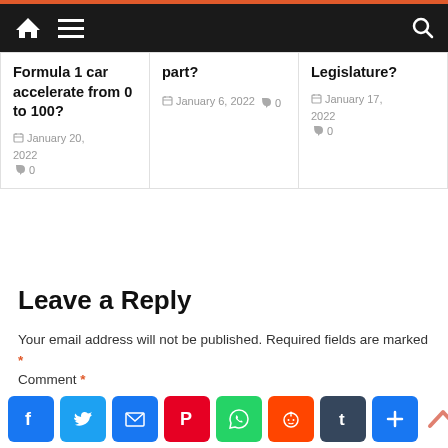Navigation bar with home, menu, and search icons
Formula 1 car accelerate from 0 to 100? January 20, 2022 0
part? January 6, 2022 0
Legislature? January 17, 2022 0
Leave a Reply
Your email address will not be published. Required fields are marked *
Comment *